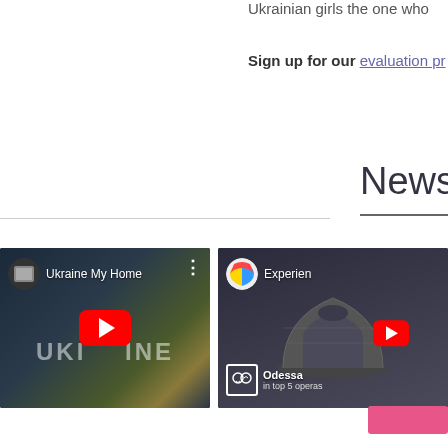Ukrainian girls the one who
Sign up for our evaluation pr
News fre
[Figure (screenshot): YouTube video thumbnail: 'Ukraine My Home' with YouTube play button overlay and channel icon. Text reads 'UKRAINE' across the video.]
[Figure (screenshot): YouTube video thumbnail showing Odessa Opera and Ballet Theatre dome. Text reads 'Experien' and 'Odessa' with 'in top 5 operas' subtitle.]